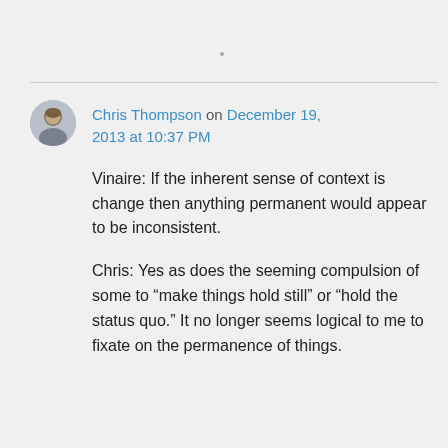Chris Thompson on December 19, 2013 at 10:37 PM
Vinaire: If the inherent sense of context is change then anything permanent would appear to be inconsistent.
Chris: Yes as does the seeming compulsion of some to “make things hold still” or “hold the status quo.” It no longer seems logical to me to fixate on the permanence of things.